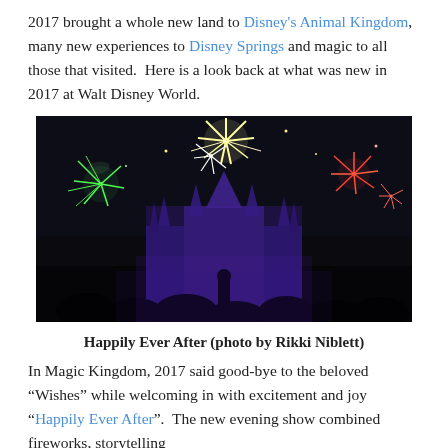2017 brought a whole new land to Disney's Animal Kingdom, many new experiences to Disney Springs and magic to all those that visited.  Here is a look back at what was new in 2017 at Walt Disney World.
[Figure (photo): Nighttime fireworks display over Cinderella Castle at Walt Disney World's Magic Kingdom, with colorful fireworks in green, white, and red bursting in the dark sky. The castle is lit in purple and blue light with a large crowd silhouetted in the foreground.]
Happily Ever After (photo by Rikki Niblett)
In Magic Kingdom, 2017 said good-bye to the beloved “Wishes” while welcoming in with excitement and joy “Happily Ever After”.  The new evening show combined fireworks, storytelling